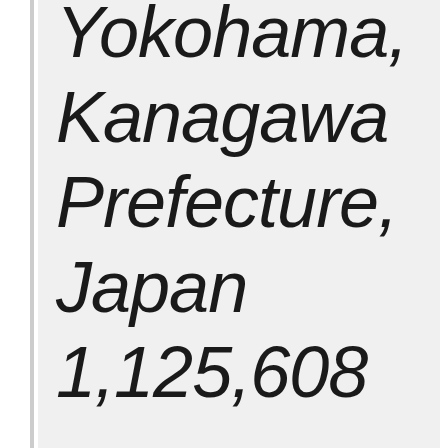Yokohama, Kanagawa Prefecture, Japan 1,125,608